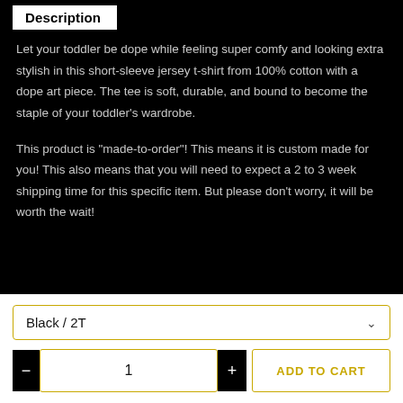Description
Let your toddler be dope while feeling super comfy and looking extra stylish in this short-sleeve jersey t-shirt from 100% cotton with a dope art piece. The tee is soft, durable, and bound to become the staple of your toddler’s wardrobe.
This product is “made-to-order”! This means it is custom made for you! This also means that you will need to expect a 2 to 3 week shipping time for this specific item. But please don’t worry, it will be worth the wait!